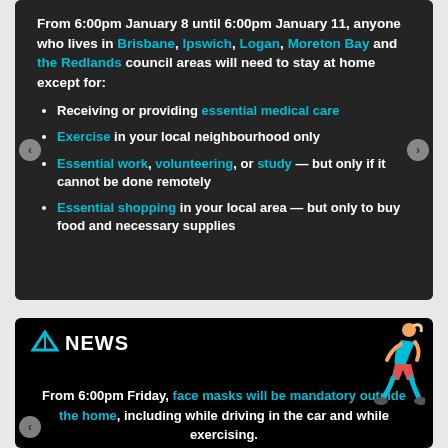From 6:00pm January 8 until 6:00pm January 11, anyone who lives in Brisbane, Ipswich, Logan, Moreton Bay and the Redlands council areas will need to stay at home except for:
Receiving or providing essential medical care
Exercise in your local neighbourhood only
Essential work, volunteering, or study — but only if it cannot be done remotely
Essential shopping in your local area — but only to buy food and necessary supplies
ABC NEWS
From 6:00pm Friday, face masks will be mandatory outside the home, including while driving in the car and while exercising.
Children under the age of 12 will